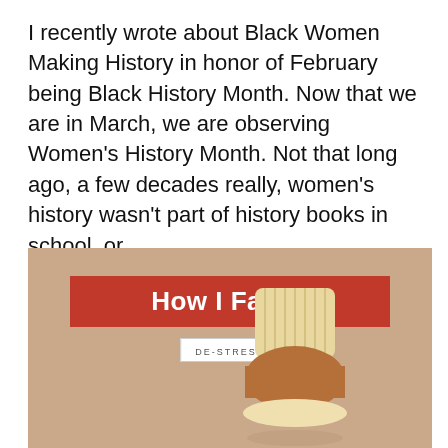I recently wrote about Black Women Making History in honor of February being Black History Month.  Now that we are in March, we are observing Women's History Month. Not that long ago, a few decades really, women's history wasn't part of history books in school, or…
[Figure (photo): Image of a muffin on a warm beige/tan background with a red banner overlay reading 'How I Failed' and a small white label underneath reading 'DE-STRESS']